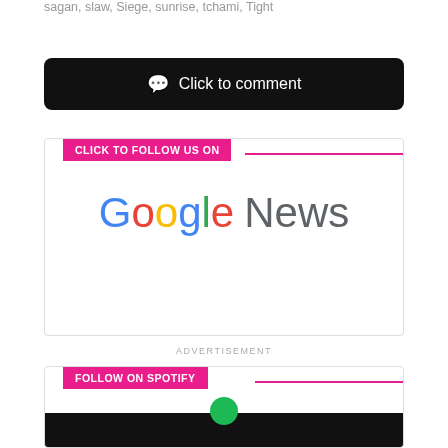sagan, slaw, Siege, sunrise, tchami, Tight
Click to comment
[Figure (infographic): Click to follow us on Google News banner with Google News logo]
ADVERTISEMENT
[Figure (infographic): Follow on Spotify banner with Spotify logo]